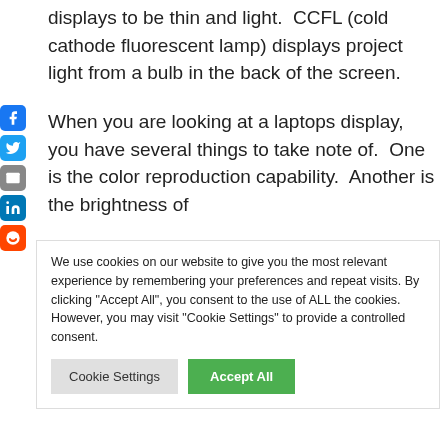displays to be thin and light.  CCFL (cold cathode fluorescent lamp) displays project light from a bulb in the back of the screen.
When you are looking at a laptops display, you have several things to take note of.  One is the color reproduction capability.  Another is the brightness of
We use cookies on our website to give you the most relevant experience by remembering your preferences and repeat visits. By clicking "Accept All", you consent to the use of ALL the cookies. However, you may visit "Cookie Settings" to provide a controlled consent.